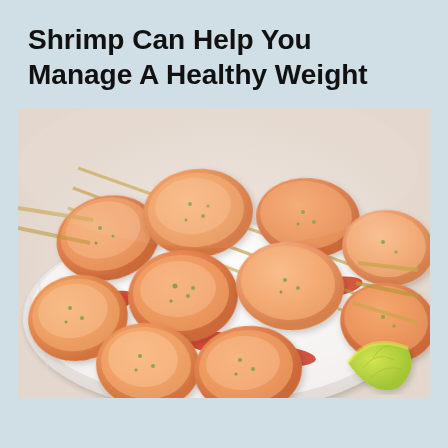Shrimp Can Help You Manage A Healthy Weight
[Figure (photo): Close-up photo of cooked shrimp on skewers arranged on a white plate, garnished with herbs and red pepper slices. A lime wedge is visible in the bottom right corner.]